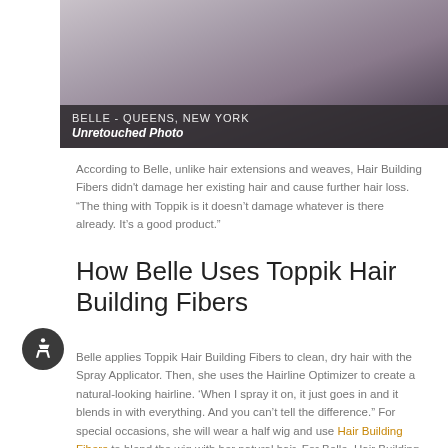[Figure (photo): Side profile photo of a woman named Belle from Queens, New York, with a dark banner overlay reading 'BELLE - QUEENS, NEW YORK' and 'Unretouched Photo']
According to Belle, unlike hair extensions and weaves, Hair Building Fibers didn't damage her existing hair and cause further hair loss. “The thing with Toppik is it doesn’t damage whatever is there already. It’s a good product.”
How Belle Uses Toppik Hair Building Fibers
Belle applies Toppik Hair Building Fibers to clean, dry hair with the Spray Applicator. Then, she uses the Hairline Optimizer to create a natural-looking hairline. ‘When I spray it on, it just goes in and it blends in with everything. And you can’t tell the difference.” For special occasions, she will wear a half wig and use Hair Building Fibers to blend the wig with her natural hair. For Belle, Hair Building Fibers last until the next